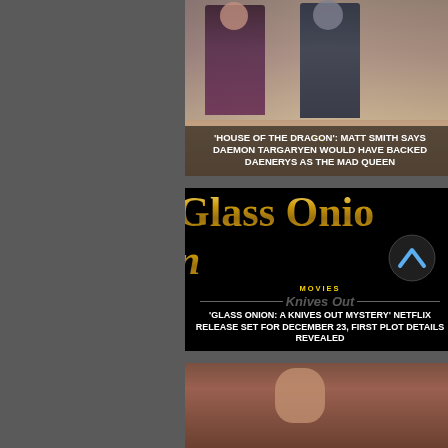[Figure (screenshot): House of the Dragon TV show thumbnail with two figures in medieval costume against a sandy background]
TV
'HOUSE OF THE DRAGON': MATT SMITH SAYS DAEMON TARGARYEN WOULD HAVE BACKED DAENERYS AS THE MAD QUEEN
[Figure (screenshot): Glass Onion: A Knives Out Mystery movie promotional image with gold gothic title text on black background]
MOVIES
'GLASS ONION: A KNIVES OUT MYSTERY' NETFLIX RELEASE SET FOR DECEMBER 23, FIRST PLOT DETAILS REVEALED
[Figure (screenshot): Partial thumbnail of a third article showing a person's face]